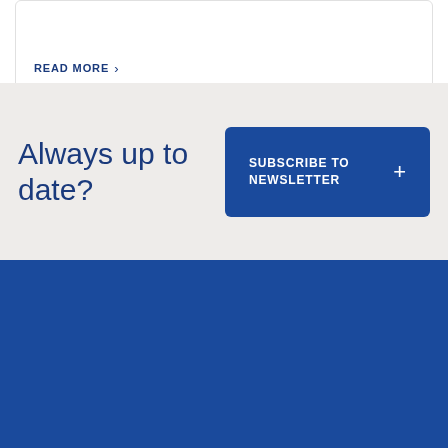READ MORE >
Always up to date?
SUBSCRIBE TO NEWSLETTER +